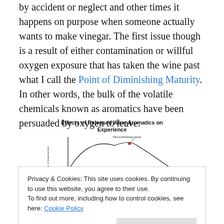by accident or neglect and other times it happens on purpose when someone actually wants to make vinegar. The first issue though is a result of either contamination or willful oxygen exposure that has taken the wine past what I call the Point of Diminishing Maturity.  In other words, the bulk of the volatile chemicals known as aromatics have been persuaded by oxygen to leave.
[Figure (continuous-plot): A bell-curve style diagram showing quality of experience vs time/oxygen exposure, with a red dot marking the 'Point of diminishing maturity' at the peak, and an arrow annotation.]
Privacy & Cookies: This site uses cookies. By continuing to use this website, you agree to their use.
To find out more, including how to control cookies, see here: Cookie Policy
wine can age before getting to the Point of Diminishing